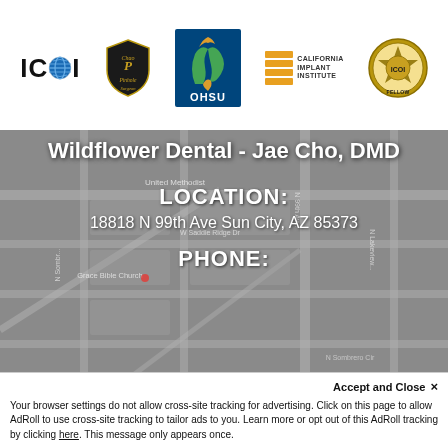[Figure (logo): Row of 5 professional logos: ICOI (with globe), Chao Pinhole (shield badge), OHSU (blue square with flame/DNA icon), California Implant Institute (orange bars with text), and a circular emblem]
[Figure (map): Google Maps screenshot showing the area around 18818 N 99th Ave Sun City AZ 85373, with street labels including N Sombrero Cir, W Saddle Ridge Dr, Grace Bible Church marker. Map is greyed/dimmed overlay.]
Wildflower Dental - Jae Cho, DMD
LOCATION:
18818 N 99th Ave Sun City, AZ 85373
PHONE:
Accept and Close ×
Your browser settings do not allow cross-site tracking for advertising. Click on this page to allow AdRoll to use cross-site tracking to tailor ads to you. Learn more or opt out of this AdRoll tracking by clicking here. This message only appears once.